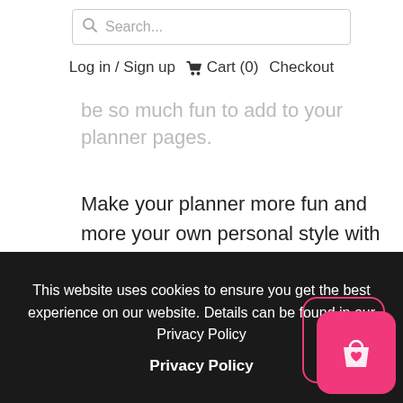[Figure (screenshot): Search bar with magnifying glass icon and placeholder text 'Search...']
Log in / Sign up  Cart (0)  Checkout
be so much fun to add to your planner pages.
Make your planner more fun and more your own personal style with all of our Rubi character doodle stickers in tons of different themes - check them all out here:
Check Out All The Rubi Doodles
This website uses cookies to ensure you get the best experience on our website. Details can be found in our Privacy Policy
Privacy Policy